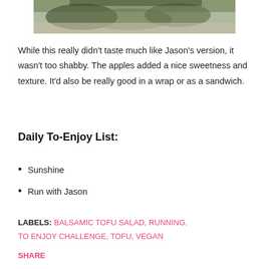[Figure (photo): Partial photo of a salad dish on a dark plate, cropped at top of page]
While this really didn't taste much like Jason's version, it wasn't too shabby. The apples added a nice sweetness and texture. It'd also be really good in a wrap or as a sandwich.
Daily To-Enjoy List:
Sunshine
Run with Jason
LABELS: BALSAMIC TOFU SALAD, RUNNING, TO ENJOY CHALLENGE, TOFU, VEGAN
SHARE